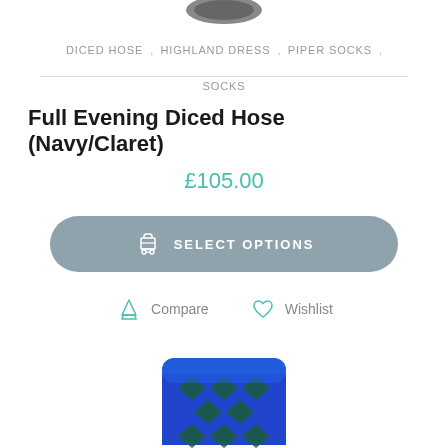[Figure (photo): Partial top view of diced hose socks, navy/claret, cropped at the very top of the page]
DICED HOSE , HIGHLAND DRESS , PIPER SOCKS , SOCKS
Full Evening Diced Hose (Navy/Claret)
£105.00
SELECT OPTIONS
Compare   Wishlist
[Figure (photo): Close-up of navy blue and dark green diced hose sock with diamond argyle pattern, showing the top cuff and upper portion]